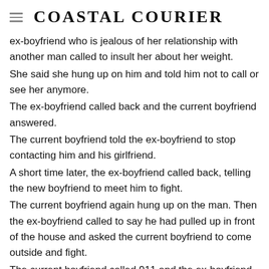Coastal Courier
ex-boyfriend who is jealous of her relationship with another man called to insult her about her weight. She said she hung up on him and told him not to call or see her anymore. The ex-boyfriend called back and the current boyfriend answered. The current boyfriend told the ex-boyfriend to stop contacting him and his girlfriend. A short time later, the ex-boyfriend called back, telling the new boyfriend to meet him to fight. The current boyfriend again hung up on the man. Then the ex-boyfriend called to say he had pulled up in front of the house and asked the current boyfriend to come outside and fight. The current boyfriend called 911 and the ex-boyfriend left before the police arrived.